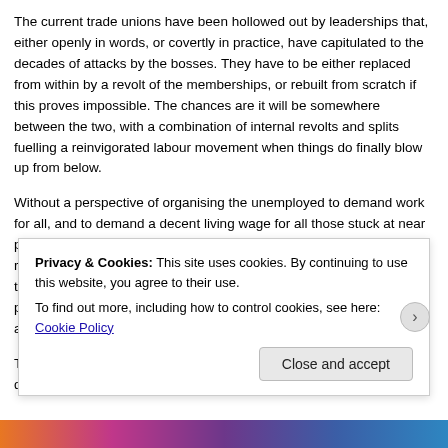The current trade unions have been hollowed out by leaderships that, either openly in words, or covertly in practice, have capitulated to the decades of attacks by the bosses. They have to be either replaced from within by a revolt of the memberships, or rebuilt from scratch if this proves impossible. The chances are it will be somewhere between the two, with a combination of internal revolts and splits fuelling a reinvigorated labour movement when things do finally blow up from below.
Without a perspective of organising the unemployed to demand work for all, and to demand a decent living wage for all those stuck at near penury on the minimum wage, trade unions will not even begin to reach the most oppressed layers of the working class that they need to revive themselves. We need to demand that the capitalist state provide massive programmes of public investment to provide jobs for all that need them. T... d...
Privacy & Cookies: This site uses cookies. By continuing to use this website, you agree to their use.
To find out more, including how to control cookies, see here: Cookie Policy